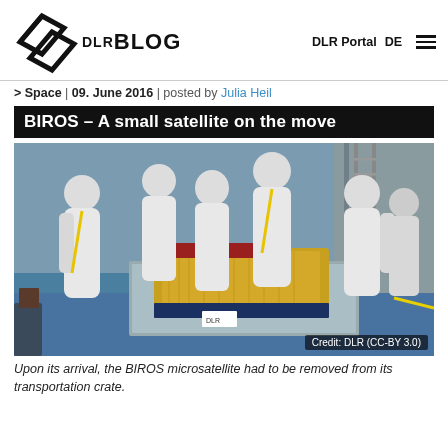DLR BLOG — DLR Portal | DE
> Space | 09. June 2016 | posted by Julia Heil
BIROS – A small satellite on the move
[Figure (photo): Several people in white cleanroom suits and hair nets stand around a small satellite wrapped in gold foil inside a metal transport crate, in a cleanroom facility with blue floor.]
Credit: DLR (CC-BY 3.0)
Upon its arrival, the BIROS microsatellite had to be removed from its transportation crate.